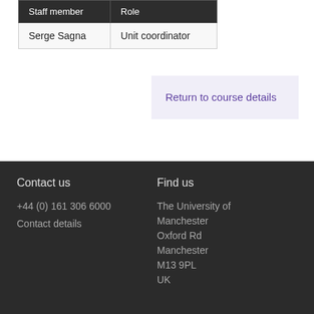| Staff member | Role |
| --- | --- |
| Serge Sagna | Unit coordinator |
Return to course details
Contact us
+44 (0) 161 306 6000
Contact details
Find us
The University of Manchester
Oxford Rd
Manchester
M13 9PL
UK